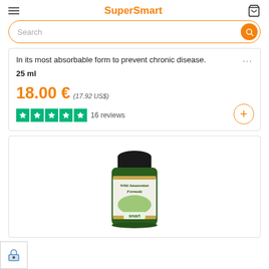SuperSmart
In its most absorbable form to prevent chronic disease.
25 ml
18.00 € (17.92 US$)
16 reviews
[Figure (photo): Green supplement bottle labeled 'Wild Amazonian Formula' with black cap, Smart brand, 120 capsules]